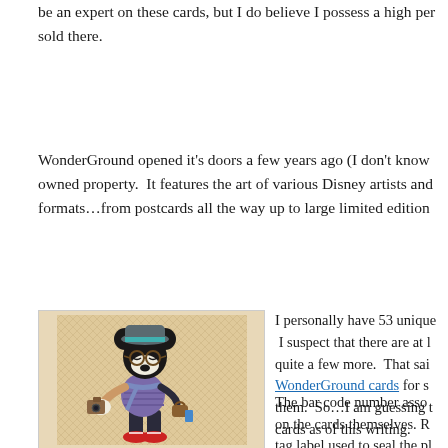be an expert on these cards, but I do believe I possess a high per sold there.
WonderGround opened it’s doors a few years ago (I don’t know owned property. It features the art of various Disney artists and formats…from postcards all the way up to large limited edition
[Figure (illustration): Illustration of Mickey Mouse dressed as a hipster with a fedora hat, glasses, striped shirt, scarf, jeans, and red sneakers, holding a camera, on a beige/tan crosshatch patterned background]
I personally have 53 unique I suspect that there are at l quite a few more. That sai WonderGround cards for s them. So…I am guessing t cards as of this writing.
The bar code number assoo on the cards themselves. R tag label used to seal the pl The lower numbers I have The highest number I